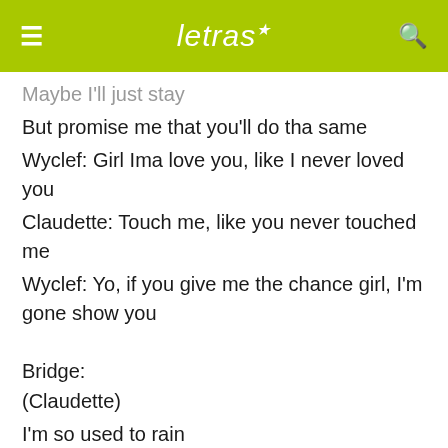letras ☆
Maybe I'll just stay
But promise me that you'll do tha same
Wyclef: Girl Ima love you, like I never loved you
Claudette: Touch me, like you never touched me
Wyclef: Yo, if you give me the chance girl, I'm gone show you
Bridge:
(Claudette)
I'm so used to rain
That I can't see the sunshine no more
I'm so used to the pain that the
The sickness builds like a cure
(Wyclef)